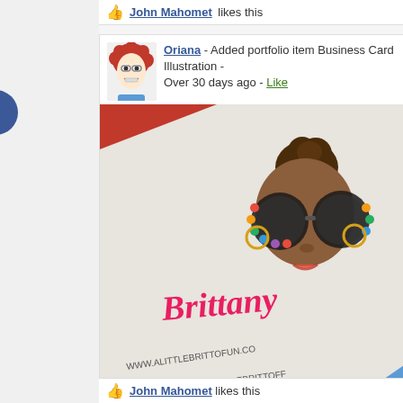John Mahomet likes this
Oriana - Added portfolio item Business Card Illustration - Over 30 days ago - Like
[Figure (illustration): Business card illustration showing a cartoon character named Brittany with large round sunglasses decorated with flowers, dark skin, hair in a bun, with text 'Brittany' in colorful lettering and website www.alittlebrittofun.com]
John Mahomet likes this